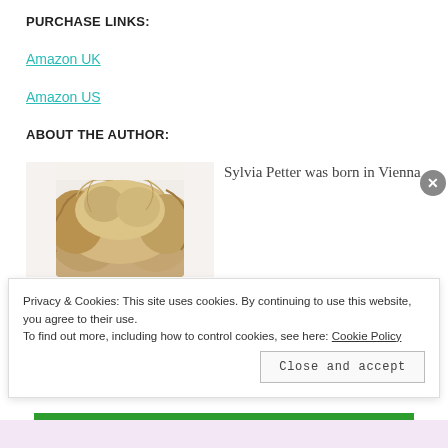PURCHASE LINKS:
Amazon UK
Amazon US
ABOUT THE AUTHOR:
[Figure (photo): Top-down photo of a person with messy blonde/light brown hair against a white background]
Sylvia Petter was born in Vienna
Privacy & Cookies: This site uses cookies. By continuing to use this website, you agree to their use.
To find out more, including how to control cookies, see here: Cookie Policy
Close and accept